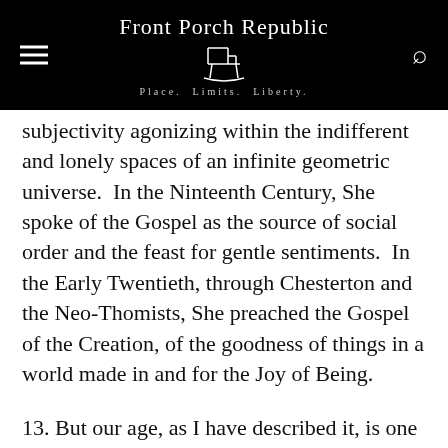Front Porch Republic
Place. Limits. Liberty.
subjectivity agonizing within the indifferent and lonely spaces of an infinite geometric universe.  In the Ninteenth Century, She spoke of the Gospel as the source of social order and the feast for gentle sentiments.  In the Early Twentieth, through Chesterton and the Neo-Thomists, She preached the Gospel of the Creation, of the goodness of things in a world made in and for the Joy of Being.
13. But our age, as I have described it, is one of atomized eroticism; we privilege the nerve centers of sexual pleasure as the one unquestionable good even as we disenchant everything about them to